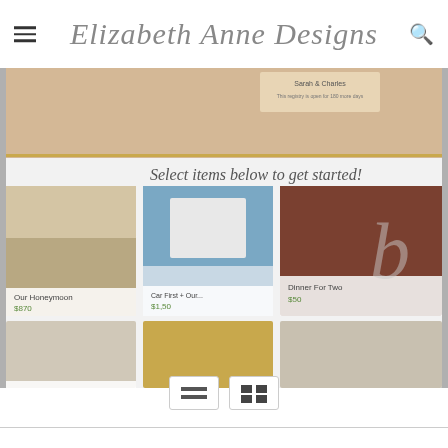Elizabeth Anne Designs
[Figure (screenshot): Screenshot of a wedding registry website showing a grid of registry categories: Our Honeymoon ($870), Our First Home (Car+, $150), Dinner For Two ($50), Home Renovation, and wine/gift selections. Text overlay reads 'Select items below to get started!' and 'Wedding Registry']
[Figure (other): Navigation controls at the bottom: list view icon and grid view icon]